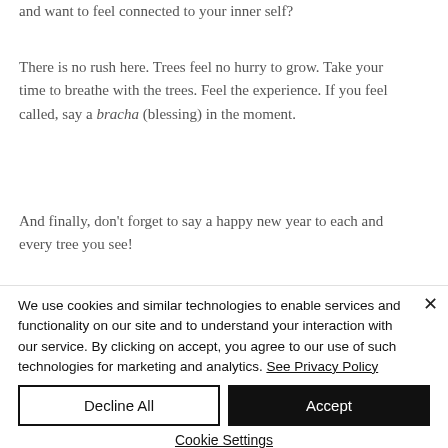and want to feel connected to your inner self?
There is no rush here. Trees feel no hurry to grow. Take your time to breathe with the trees. Feel the experience. If you feel called, say a bracha (blessing) in the moment.
And finally, don't forget to say a happy new year to each and every tree you see!
We use cookies and similar technologies to enable services and functionality on our site and to understand your interaction with our service. By clicking on accept, you agree to our use of such technologies for marketing and analytics. See Privacy Policy
Decline All
Accept
Cookie Settings